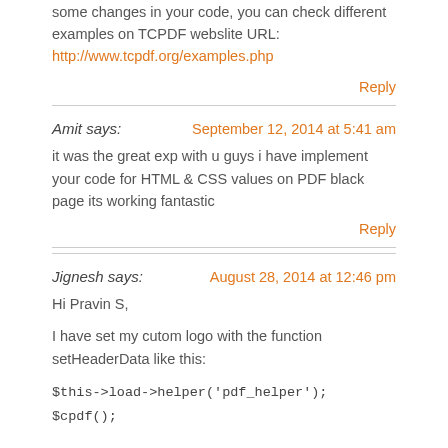some changes in your code, you can check different examples on TCPDF webslite URL: http://www.tcpdf.org/examples.php
Reply
Amit says: September 12, 2014 at 5:41 am
it was the great exp with u guys i have implement your code for HTML & CSS values on PDF black page its working fantastic
Reply
Jignesh says: August 28, 2014 at 12:46 pm
Hi Pravin S,
I have set my cutom logo with the function setHeaderData like this:
$this->load->helper('pdf_helper');
$cpdf();